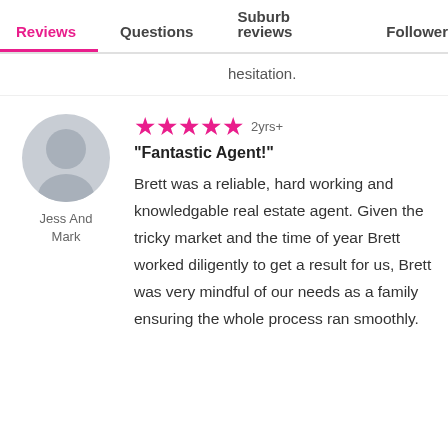Reviews  Questions  Suburb reviews  Follower
hesitation.
[Figure (illustration): Generic user avatar silhouette in a grey circle]
Jess And Mark
★★★★★ 2yrs+
"Fantastic Agent!"
Brett was a reliable, hard working and knowledgable real estate agent. Given the tricky market and the time of year Brett worked diligently to get a result for us, Brett was very mindful of our needs as a family ensuring the whole process ran smoothly.